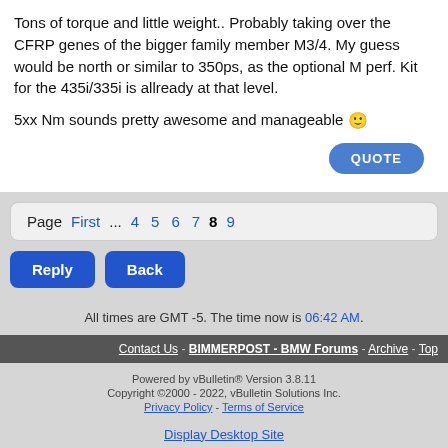Tons of torque and little weight.. Probably taking over the CFRP genes of the bigger family member M3/4. My guess would be north or similar to 350ps, as the optional M perf. Kit for the 435i/335i is allready at that level.

5xx Nm sounds pretty awesome and manageable 🙂
QUOTE
Page First ... 4 5 6 7 8 9
Reply  Back
All times are GMT -5. The time now is 06:42 AM.
Contact Us - BIMMERPOST - BMW Forums - Archive - Top
Powered by vBulletin® Version 3.8.11
Copyright ©2000 - 2022, vBulletin Solutions Inc.
Privacy Policy - Terms of Service
Display Desktop Site